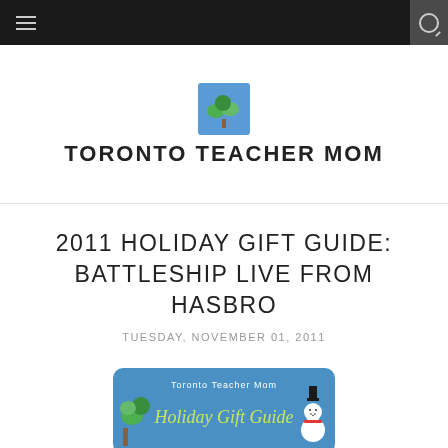Toronto Teacher Mom — navigation bar with menu and search icons
[Figure (logo): Toronto Teacher Mom site logo: a small tree with green leaves on a blue background square, above the text TORONTO TEACHER MOM]
2011 HOLIDAY GIFT GUIDE: BATTLESHIP LIVE FROM HASBRO
TUESDAY, NOVEMBER 01, 2011
[Figure (illustration): Holiday Gift Guide banner image with blue background, green tree, snowman, and stylized text reading 'Toronto Teacher Mom Holiday Gift Guide']